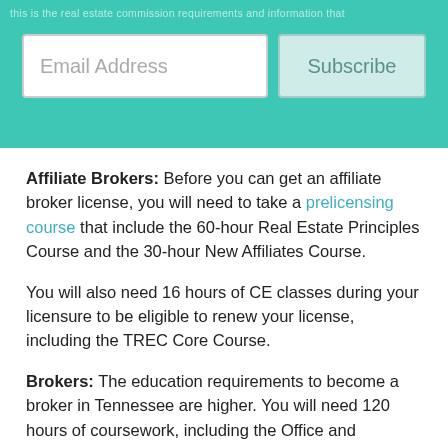Email Address  Subscribe
Affiliate Brokers: Before you can get an affiliate broker license, you will need to take a prelicensing course that include the 60-hour Real Estate Principles Course and the 30-hour New Affiliates Course.
You will also need 16 hours of CE classes during your licensure to be eligible to renew your license, including the TREC Core Course.
Brokers: The education requirements to become a broker in Tennessee are higher. You will need 120 hours of coursework, including the Office and Brokerage Management Course, before you can apply for your broker license. After you obtain your license, you will need another 120 hours of coursework within your first three years. Then, once you complete those hours, you will need